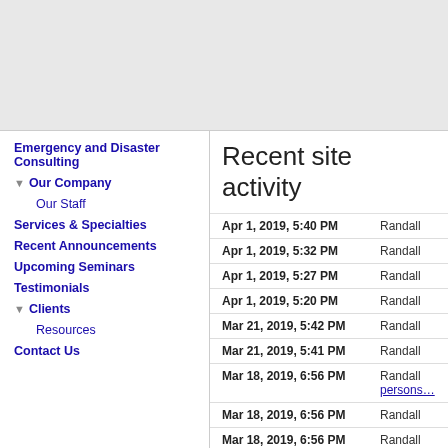Recent site activity
Emergency and Disaster Consulting
Our Company
Our Staff
Services & Specialties
Recent Announcements
Upcoming Seminars
Testimonials
Clients
Resources
Contact Us
| Date | User |
| --- | --- |
| Apr 1, 2019, 5:40 PM | Randall |
| Apr 1, 2019, 5:32 PM | Randall |
| Apr 1, 2019, 5:27 PM | Randall |
| Apr 1, 2019, 5:20 PM | Randall |
| Mar 21, 2019, 5:42 PM | Randall |
| Mar 21, 2019, 5:41 PM | Randall |
| Mar 18, 2019, 6:56 PM | Randall persons… |
| Mar 18, 2019, 6:56 PM | Randall |
| Mar 18, 2019, 6:56 PM | Randall |